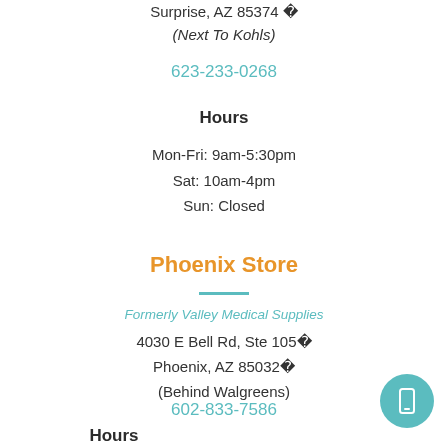Surprise, AZ 85374 (Next To Kohls)
623-233-0268
Hours
Mon-Fri: 9am-5:30pm
Sat: 10am-4pm
Sun: Closed
Phoenix Store
Formerly Valley Medical Supplies
4030 E Bell Rd, Ste 105
Phoenix, AZ 85032
(Behind Walgreens)
602-833-7586
Hours
Mon-Fri: 9am-5:30pm
Sat: 10am-4pm